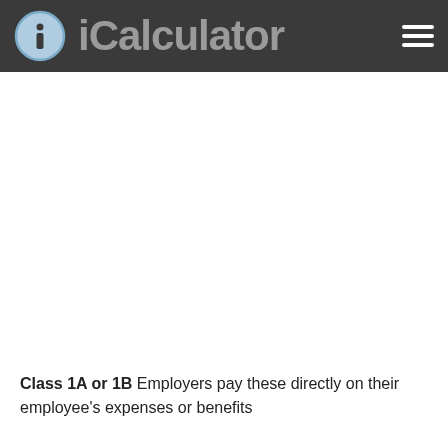iCalculator
Class 1A or 1B Employers pay these directly on their employee's expenses or benefits